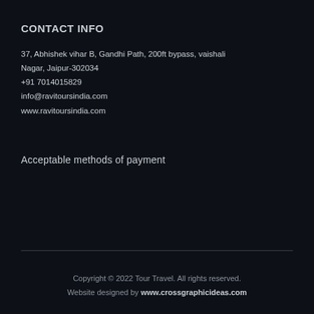CONTACT INFO
37, Abhishek vihar B, Gandhi Path, 200ft bypass, vaishali Nagar, Jaipur-302034
+91 7014015829
info@ravitoursindia.com
www.ravitoursindia.com
Acceptable methods of payment
Copyright © 2022 Tour Travel. All rights reserved.
Website designed by www.crossgraphicideas.com